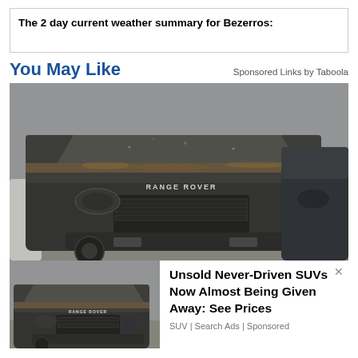The 2 day current weather summary for Bezerros:
You May Like
Sponsored Links by Taboola
[Figure (photo): A dusty black Range Rover Evoque SUV covered in grime and debris, parked next to another dark SUV. The Range Rover badge is visible on the grille.]
[Figure (photo): Thumbnail of the same dusty black Range Rover Evoque, smaller version.]
Unsold Never-Driven SUVs Now Almost Being Given Away: See Prices
SUV | Search Ads | Sponsored